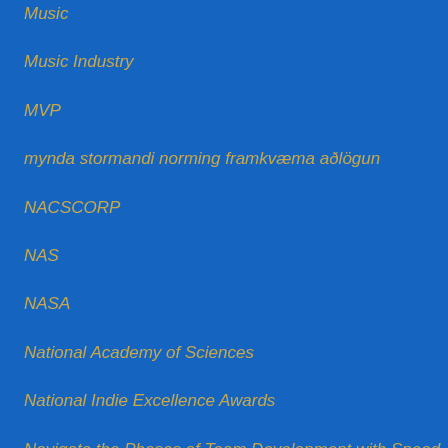Music
Music Industry
MVP
mynda stormandi norming framkvæma aðlögun
NACSCORP
NAS
NASA
National Academy of Sciences
National Indie Excellence Awards
Navigate the Phases of Team Development with Speed and Agility